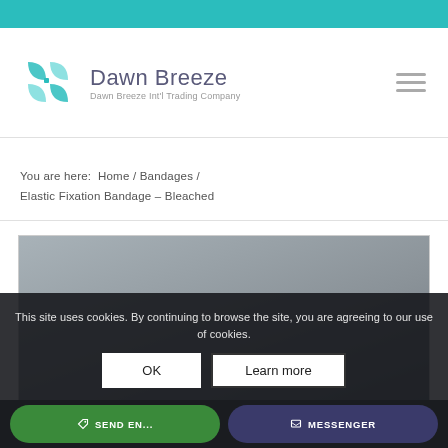[Figure (logo): Dawn Breeze International Trading Company logo with teal geometric icon and company name]
You are here: Home / Bandages / Elastic Fixation Bandage – Bleached
[Figure (photo): Product image area showing a grey/neutral background placeholder for Elastic Fixation Bandage product photo]
This site uses cookies. By continuing to browse the site, you are agreeing to our use of cookies.
OK   Learn more
SEND EN...   MESSENGER